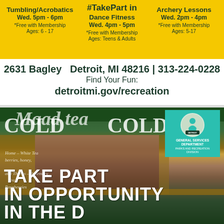Tumbling/Acrobatics Wed. 5pm - 6pm *Free with Membership Ages: 6 - 17
#TakePart in
Dance Fitness Wed. 4pm - 5pm *Free with Membership Ages: Teens & Adults
Archery Lessons Wed. 2pm - 4pm *Free with Membership Ages: 5-17
2631 Bagley  Detroit, MI 48216 | 313-224-0228
Find Your Fun:
detroitmi.gov/recreation
[Figure (photo): Photo of a smiling young woman at a food/drink stand called Mad Tea, holding an ice cream cone. Menu items visible on chalkboard. COLD signs on sides. Teal badge for City of Detroit General Services Department Parks and Recreation Division in top right corner.]
TAKE PART IN OPPORTUNITY IN THE D